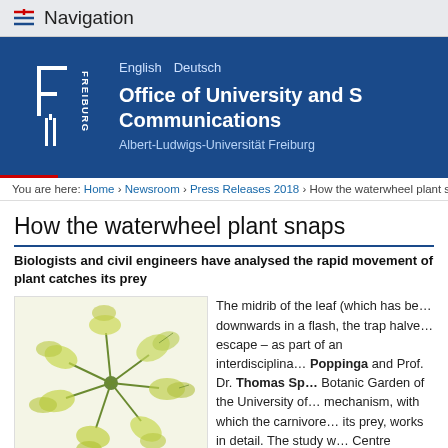Navigation
[Figure (logo): UNI FREIBURG logo with white text on blue background]
English  Deutsch
Office of University and S… Communications
Albert-Ludwigs-Universität Freiburg
You are here: Home › Newsroom › Press Releases 2018 › How the waterwheel plant sna…
How the waterwheel plant snaps
Biologists and civil engineers have analysed the rapid movement of… plant catches its prey
[Figure (illustration): Illustration of the waterwheel plant (Aldrovanda vesiculosa) showing its wheel-like leaf arrangement with trap lobes]
The waterwheel got its name
The midrib of the leaf (which has be… downwards in a flash, the trap halve… escape – as part of an interdisciplina… Poppinga and Prof. Dr. Thomas Sp… Botanic Garden of the University of… mechanism, with which the carnivore… its prey, works in detail. The study w… Centre "Biological Design and Integ… Implementation in Architecture". In a… the Journal of Structural Mechanics…